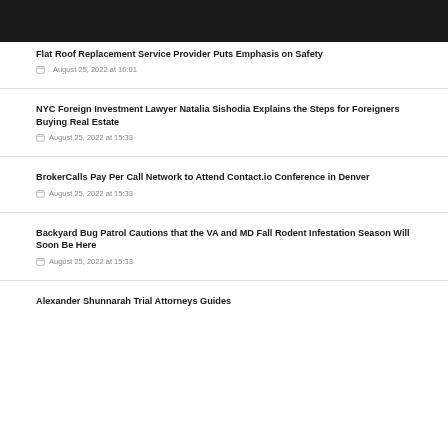Flat Roof Replacement Service Provider Puts Emphasis on Safety
August 25, 2022 at 16:01
NYC Foreign Investment Lawyer Natalia Sishodia Explains the Steps for Foreigners Buying Real Estate
August 25, 2022 at 15:33
BrokerCalls Pay Per Call Network to Attend Contact.io Conference in Denver
August 25, 2022 at 15:33
Backyard Bug Patrol Cautions that the VA and MD Fall Rodent Infestation Season Will Soon Be Here
August 25, 2022 at 15:33
Alexander Shunnarah Trial Attorneys Guides